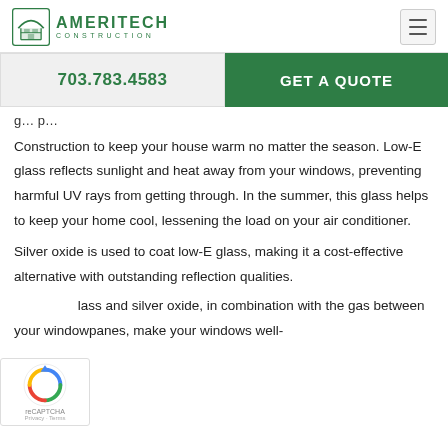AMERITECH CONSTRUCTION
703.783.4583
GET A QUOTE
g... p...
Construction to keep your house warm no matter the season. Low-E glass reflects sunlight and heat away from your windows, preventing harmful UV rays from getting through. In the summer, this glass helps to keep your home cool, lessening the load on your air conditioner.
Silver oxide is used to coat low-E glass, making it a cost-effective alternative with outstanding reflection qualities.
lass and silver oxide, in combination with the gas between your windowpanes, make your windows well-